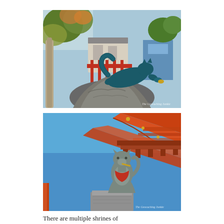[Figure (photo): Close-up photograph of a dark teal/blue-green fox or cat sculpture leaping atop a rocky stone pedestal/fountain. Trees with autumn leaves and a traditional Japanese building with red fence are visible in the background. A watermark reads 'The Geocaching Junkie' in the lower right.]
[Figure (photo): Photograph of a stone kitsune (fox) statue wearing a red bib, seated on a pedestal, photographed from below against a clear blue sky. The ornate orange/red roofing of a Japanese shrine (Fushimi Inari) is visible in the upper right. A watermark reads 'The Geocaching Junkie' in the lower right.]
There are multiple shrines of